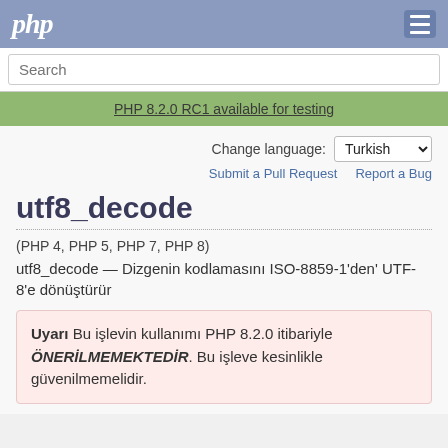php
Search
PHP 8.2.0 RC1 available for testing
Change language: Turkish
Submit a Pull Request   Report a Bug
utf8_decode
(PHP 4, PHP 5, PHP 7, PHP 8)
utf8_decode — Dizgenin kodlamasını ISO-8859-1'den' UTF-8'e dönüştürür
Uyarı  Bu işlevin kullanımı PHP 8.2.0 itibariyle ÖNERİLMEMEKTEDİR. Bu işleve kesinlikle güvenilmemelidir.